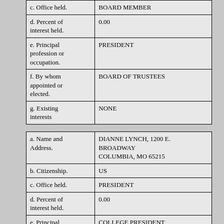| c. Office held. | BOARD MEMBER |
| d. Percent of interest held. | 0.00 |
| e. Principal profession or occupation. | PRESIDENT |
| f. By whom appointed or elected. | BOARD OF TRUSTEES |
| g. Existing interests | NONE |
| a. Name and Address. | DIANNE LYNCH, 1200 E. BROADWAY COLUMBIA, MO 65215 |
| b. Citizenship. | US |
| c. Office held. | PRESIDENT |
| d. Percent of interest held. | 0.00 |
| e. Principal profession or occupation. | COLLEGE PRESIDENT |
| f. By whom appointed or elected. | BOARD OF TRUSTEES |